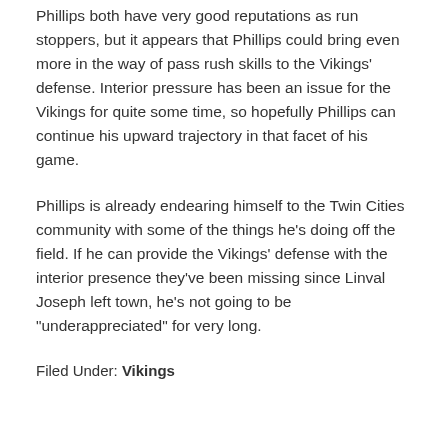Phillips both have very good reputations as run stoppers, but it appears that Phillips could bring even more in the way of pass rush skills to the Vikings' defense. Interior pressure has been an issue for the Vikings for quite some time, so hopefully Phillips can continue his upward trajectory in that facet of his game.
Phillips is already endearing himself to the Twin Cities community with some of the things he's doing off the field. If he can provide the Vikings' defense with the interior presence they've been missing since Linval Joseph left town, he's not going to be "underappreciated" for very long.
Filed Under: Vikings